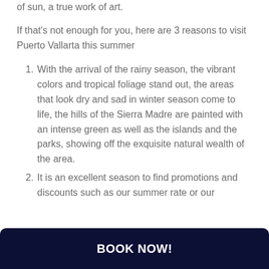of sun, a true work of art.
If that's not enough for you, here are 3 reasons to visit Puerto Vallarta this summer
With the arrival of the rainy season, the vibrant colors and tropical foliage stand out, the areas that look dry and sad in winter season come to life, the hills of the Sierra Madre are painted with an intense green as well as the islands and the parks, showing off the exquisite natural wealth of the area.
It is an excellent season to find promotions and discounts such as our summer rate or our
BOOK NOW!